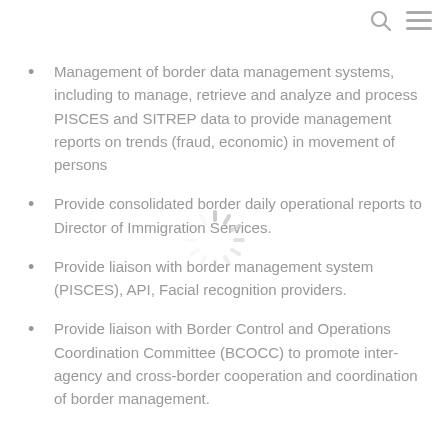search menu
Management of border data management systems, including to manage, retrieve and analyze and process PISCES and SITREP data to provide management reports on trends (fraud, economic) in movement of persons
Provide consolidated border daily operational reports to Director of Immigration Services.
Provide liaison with border management system (PISCES), API, Facial recognition providers.
Provide liaison with Border Control and Operations Coordination Committee (BCOCC) to promote inter-agency and cross-border cooperation and coordination of border management.